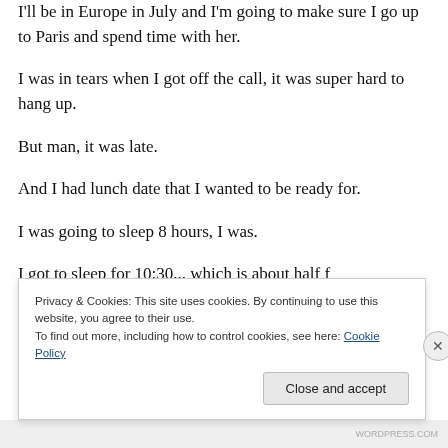I'll be in Europe in July and I'm going to make sure I go up to Paris and spend time with her.
I was in tears when I got off the call, it was super hard to hang up.
But man, it was late.
And I had lunch date that I wanted to be ready for.
I was going to sleep 8 hours, I was.
I got to sleep for 10:30... which is about half...
Privacy & Cookies: This site uses cookies. By continuing to use this website, you agree to their use.
To find out more, including how to control cookies, see here: Cookie Policy
Close and accept